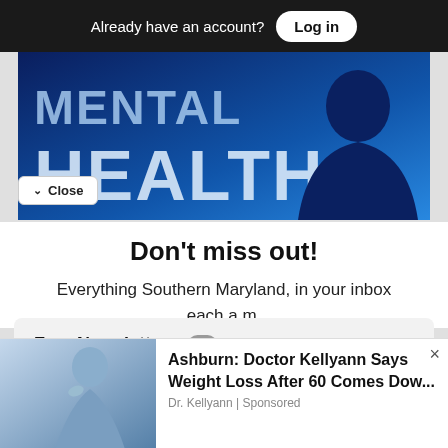Already have an account? Log in
[Figure (photo): Mental Health banner image with blue background and text reading MENTAL HEALTH with a silhouette of a person]
Close
Don't miss out!
Everything Southern Maryland, in your inbox each a.m.
Free Newsletters 1
Daily Digest
A roundup of the latest news
[Figure (photo): Advertisement: Ashburn: Doctor Kellyann Says Weight Loss After 60 Comes Dow... Dr. Kellyann | Sponsored]